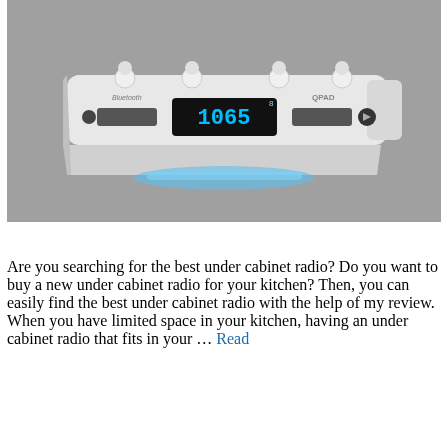[Figure (photo): A white under-cabinet radio/Bluetooth device with a digital display showing '1065', mounted to be installed under a kitchen cabinet. The device has a flat top surface, small white knobs/mounts on top, a digital clock/radio display in the center, and a blue light on the underside. The background is gray.]
Are you searching for the best under cabinet radio? Do you want to buy a new under cabinet radio for your kitchen? Then, you can easily find the best under cabinet radio with the help of my review. When you have limited space in your kitchen, having an under cabinet radio that fits in your … Read